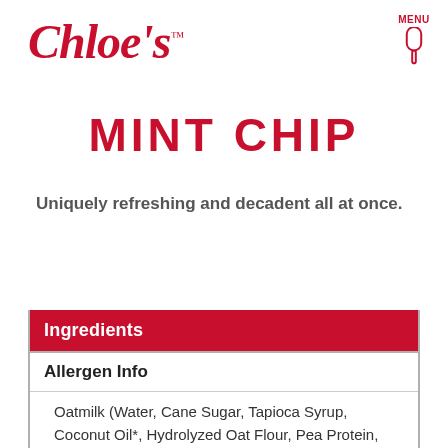[Figure (logo): Chloe's brand logo in red cursive script with TM superscript]
[Figure (illustration): Red popsicle/ice cream bar icon with MENU text above]
MINT CHIP
Uniquely refreshing and decadent all at once.
| Ingredients | Allergen Info |  |
| --- | --- | --- |
| Oatmilk (Water, Cane Sugar, Tapioca Syrup, Coconut Oil*, Hydrolyzed Oat Flour, Pea Protein, Flaxseed), Chocolatey Chips (Sugar, Palm Kernel Oil, Cocoa Processed With Alkali, Natural Vanilla Flavor, Sunflower |  |  |